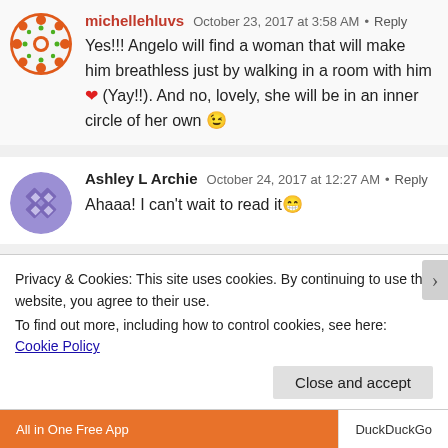michellehluvs  October 23, 2017 at 3:58 AM · Reply
Yes!!! Angelo will find a woman that will make him breathless just by walking in a room with him ❤ (Yay!!). And no, lovely, she will be in an inner circle of her own 😉
Ashley L Archie  October 24, 2017 at 12:27 AM · Reply
Ahaaa! I can't wait to read it 😁
Ashley L Archie  October 26, 2017 at 1:26 AM · Reply
Will Cinthia be a problem and have we heard the
Privacy & Cookies: This site uses cookies. By continuing to use this website, you agree to their use.
To find out more, including how to control cookies, see here: Cookie Policy
Close and accept